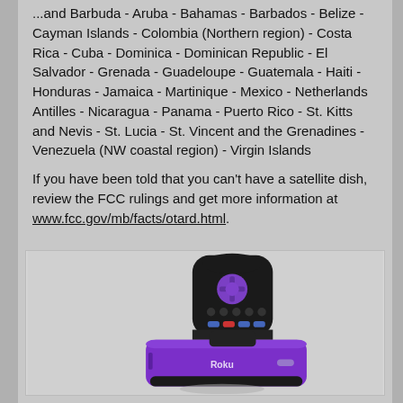...and Barbuda - Aruba - Bahamas - Barbados - Belize - Cayman Islands - Colombia (Northern region) - Costa Rica - Cuba - Dominica - Dominican Republic - El Salvador - Grenada - Guadeloupe - Guatemala - Haiti - Honduras - Jamaica - Martinique - Mexico - Netherlands Antilles - Nicaragua - Panama - Puerto Rico - St. Kitts and Nevis - St. Lucia - St. Vincent and the Grenadines - Venezuela (NW coastal region) - Virgin Islands

If you have been told that you can't have a satellite dish, review the FCC rulings and get more information at www.fcc.gov/mb/facts/otard.html.
[Figure (photo): A Roku streaming device (purple box) with its black remote control featuring purple navigation buttons, shown on a light gray background.]